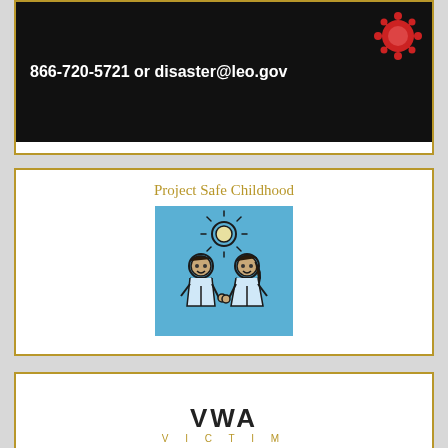[Figure (screenshot): Dark/black background banner showing disaster hotline number: 866-720-5721 or disaster@leo.gov, with a red coronavirus virus illustration in the top-right corner.]
Project Safe Childhood
[Figure (illustration): Blue square image showing two cartoon children (a boy and a girl) holding hands under a shining sun, drawn in a simple line-art style with dark outlines on a sky-blue background.]
VWA VICTIM